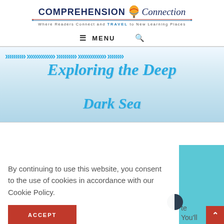[Figure (logo): Comprehension Connection logo with hot air balloon, tagline 'Where Readers Connect and TRAVEL to New Learning Places']
≡ MENU  🔍
[Figure (illustration): Decorative header image with blue arrow chevrons and hand-lettered text 'Exploring the Deep Dark Sea' in blue script on light blue background]
By continuing to use this website, you consent to the use of cookies in accordance with our Cookie Policy.
[Figure (other): ACCEPT button - red rectangle with white uppercase text]
te
You'll